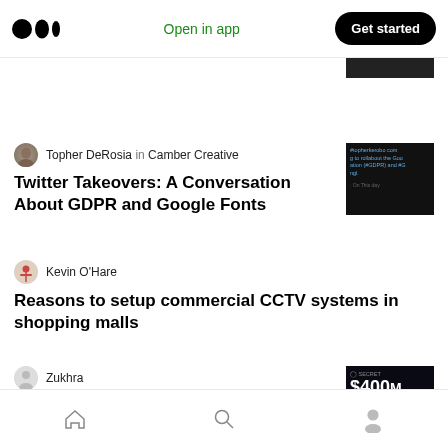Medium — Open in app — Get started
[Figure (screenshot): Partially visible dark thumbnail image at top right]
Topher DeRosia in Camber Creative
Twitter Takeovers: A Conversation About GDPR and Google Fonts
[Figure (screenshot): Dark screenshot showing Twitter/social media text about #topherkenobe, GDPR and Google Fonts]
Kevin O'Hare
Reasons to setup commercial CCTV systems in shopping malls
Zukhra
Secret Network Announces $400M in Ecosystem Funding and Reveals New Investors
[Figure (screenshot): Dark image showing $400M Ecosystem Funding announcement with Secret Network branding]
Home — Search — Profile navigation icons